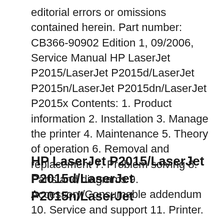editorial errors or omissions contained herein. Part number: CB366-90902 Edition 1, 09/2006, Service Manual HP LaserJet P2015/LaserJet P2015d/LaserJet P2015n/LaserJet P2015dn/LaserJet P2015x Contents: 1. Product information 2. Installation 3. Manage the printer 4. Maintenance 5. Theory of operation 6. Removal and replacement 7. Problem solving 8. Parts and diagrams 9. Accessory/Consumable addendum 10. Service and support 11. Printer.
HP LaserJet P2015/LaserJet P2015d/LaserJet P2015n/LaserJet